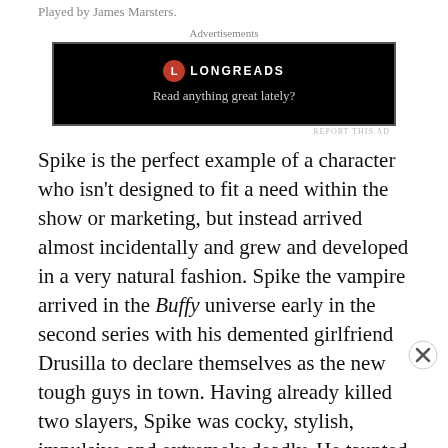Played by James Marsters.
[Figure (other): Longreads advertisement banner with black background showing the Longreads logo (red circle with L) and tagline 'Read anything great lately?']
Spike is the perfect example of a character who isn't designed to fit a need within the show or marketing, but instead arrived almost incidentally and grew and developed in a very natural fashion. Spike the vampire arrived in the Buffy universe early in the second series with his demented girlfriend Drusilla to declare themselves as the new tough guys in town. Having already killed two slayers, Spike was cocky, stylish, impulsive and extremely deadly. He taunted and pursued Buffy up until Buffy had a
[Figure (other): MAC cosmetics advertisement showing colorful lipsticks on the left and MAC logo with 'SHOP NOW' button on the right]